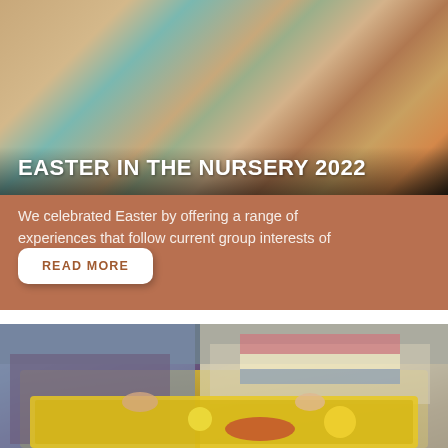[Figure (photo): Children finger-painting with teal/blue paint on a surface, viewed from above. Photo forms the top banner of the card.]
EASTER IN THE NURSERY 2022
We celebrated Easter by offering a range of experiences that follow current group interests of ngā t…
[Figure (photo): Two young children standing at a yellow water/sensory tub, reaching into it. Items including what appears to be a lobster and yellow balls are visible in the tub.]